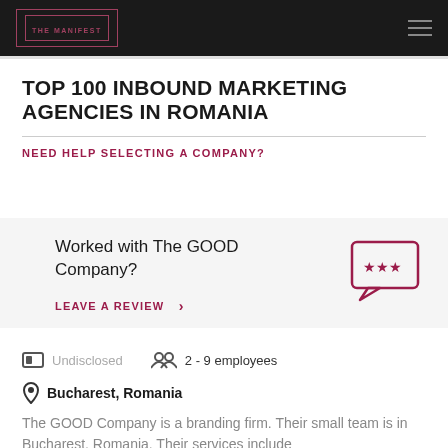THE MANIFEST
TOP 100 INBOUND MARKETING AGENCIES IN ROMANIA
NEED HELP SELECTING A COMPANY?
Worked with The GOOD Company?
LEAVE A REVIEW >
Undisclosed
2 - 9 employees
Bucharest, Romania
The GOOD Company is a branding firm. Their small team is in Bucharest, Romania. Their services include